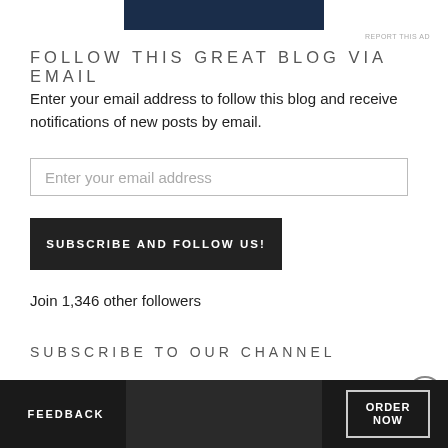[Figure (other): Dark blue advertisement banner at top of page]
REPORT THIS AD
FOLLOW THIS GREAT BLOG VIA EMAIL
Enter your email address to follow this blog and receive notifications of new posts by email.
Enter your email address
SUBSCRIBE AND FOLLOW US!
Join 1,346 other followers
SUBSCRIBE TO OUR CHANNEL
[Figure (other): YouTube channel subscription widget with red button and channel icons]
Advertisements
[Figure (other): Seamless food delivery advertisement banner with FEEDBACK button, pizza image, Seamless logo, and ORDER NOW button]